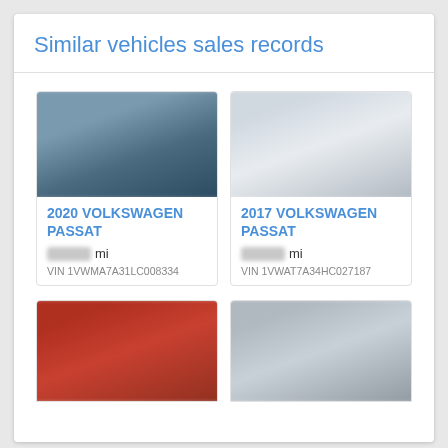Similar vehicles sales records
[Figure (photo): Blurred photo of a 2020 Volkswagen Passat, dark blue/gray color, seen from front-left angle outdoors]
2020 VOLKSWAGEN PASSAT
[mileage redacted] mi
VIN 1VWMA7A31LC008334
[Figure (photo): Blurred photo of a 2017 Volkswagen Passat, white color, seen from front-right angle]
2017 VOLKSWAGEN PASSAT
[mileage redacted] mi
VIN 1VWAT7A34HC027187
[Figure (photo): Blurred photo of a red Volkswagen Passat, seen from front-left angle outdoors]
[Figure (photo): Blurred photo of a silver/gray Volkswagen Passat, seen from side angle outdoors]